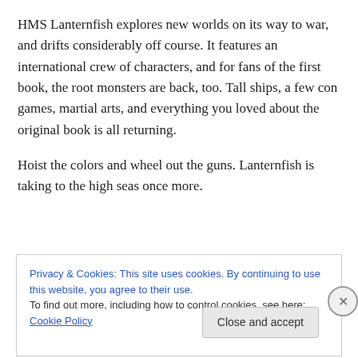HMS Lanternfish explores new worlds on its way to war, and drifts considerably off course. It features an international crew of characters, and for fans of the first book, the root monsters are back, too. Tall ships, a few con games, martial arts, and everything you loved about the original book is all returning.
Hoist the colors and wheel out the guns. Lanternfish is taking to the high seas once more.
Privacy & Cookies: This site uses cookies. By continuing to use this website, you agree to their use.
To find out more, including how to control cookies, see here: Cookie Policy
Close and accept